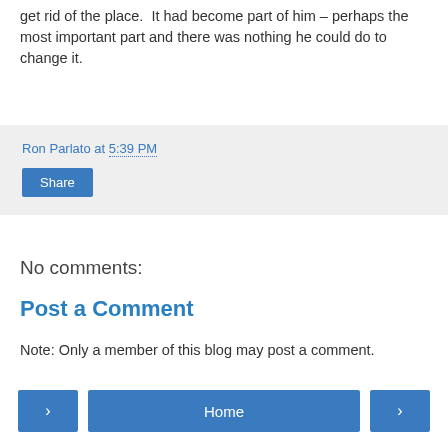get rid of the place. It had become part of him – perhaps the most important part and there was nothing he could do to change it.
Ron Parlato at 5:39 PM
Share
No comments:
Post a Comment
Note: Only a member of this blog may post a comment.
‹  Home  ›
View web version
Powered by Blogger.